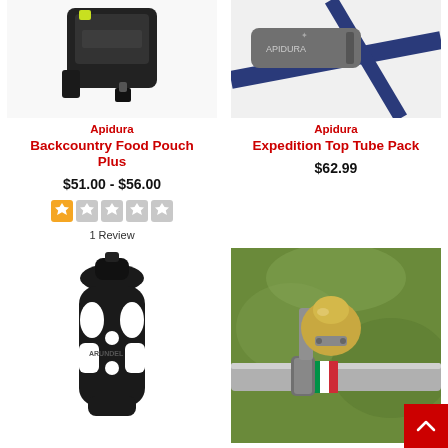[Figure (photo): Apidura Backcountry Food Pouch Plus black bike bag]
[Figure (photo): Apidura Expedition Top Tube Pack mounted on blue bicycle frame]
Apidura
Backcountry Food Pouch Plus
$51.00 - $56.00
[Figure (other): Star rating: 1 out of 5 stars]
1 Review
Apidura
Expedition Top Tube Pack
$62.99
[Figure (photo): Black bicycle bottle cage (Arundel brand)]
[Figure (photo): Bicycle bell mounted on handlebar with Italian flag stripe]